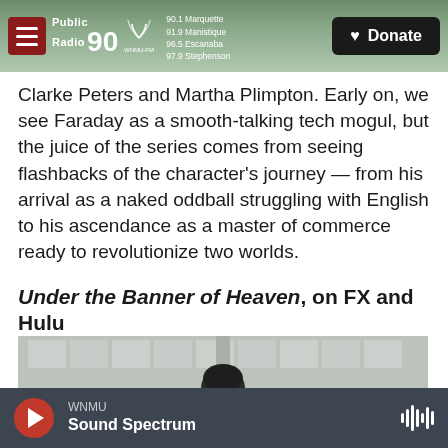Public Radio 90 WNMU-FM | 90.1 Marquette, 91.9 Manistique, 96.5 Escanaba, 97.9 Stephenson | Donate
Clarke Peters and Martha Plimpton. Early on, we see Faraday as a smooth-talking tech mogul, but the juice of the series comes from seeing flashbacks of the character's journey — from his arrival as a naked oddball struggling with English to his ascendance as a master of commerce ready to revolutionize two worlds.
Under the Banner of Heaven, on FX and Hulu
[Figure (photo): A person seen from behind/above, with dark hair, photographed outdoors near a building.]
WNMU — Sound Spectrum